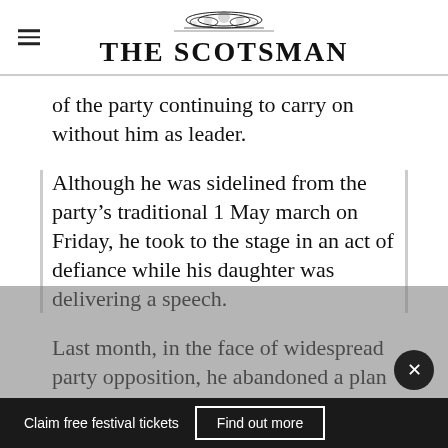THE SCOTSMAN
of the party continuing to carry on without him as leader.
Although he was sidelined from the party’s traditional 1 May march on Friday, he took to the stage in an act of defiance while his daughter was delivering a speech.
Last month, in the face of widespread party opposition, he abandoned a plan to lead a party list in regional elections in southern
Claim free festival tickets   Find out more